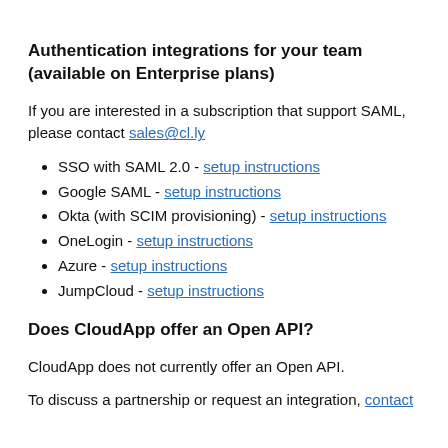Authentication integrations for your team (available on Enterprise plans)
If you are interested in a subscription that support SAML, please contact sales@cl.ly
SSO with SAML 2.0 - setup instructions
Google SAML - setup instructions
Okta (with SCIM provisioning) - setup instructions
OneLogin - setup instructions
Azure - setup instructions
JumpCloud - setup instructions
Does CloudApp offer an Open API?
CloudApp does not currently offer an Open API.
To discuss a partnership or request an integration, contact